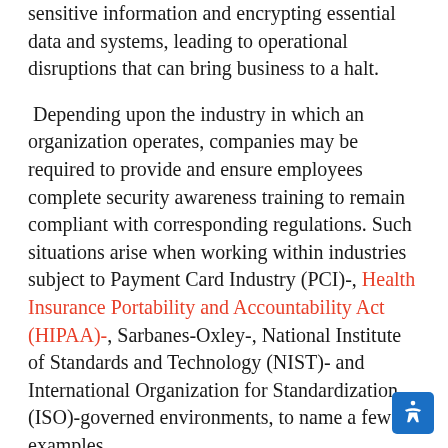sensitive information and encrypting essential data and systems, leading to operational disruptions that can bring business to a halt.
Depending upon the industry in which an organization operates, companies may be required to provide and ensure employees complete security awareness training to remain compliant with corresponding regulations. Such situations arise when working within industries subject to Payment Card Industry (PCI)-, Health Insurance Portability and Accountability Act (HIPAA)-, Sarbanes-Oxley-, National Institute of Standards and Technology (NIST)- and International Organization for Standardization (ISO)-governed environments, to name a few examples.